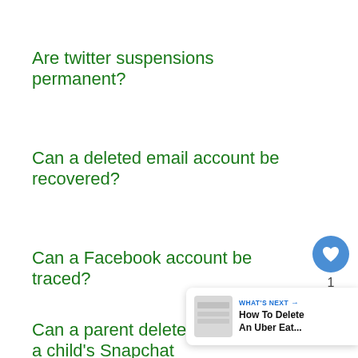Are twitter suspensions permanent?
Can a deleted email account be recovered?
Can a Facebook account be traced?
Can a parent delete a child's Snapchat account?
[Figure (infographic): Heart/like button (blue circle with white heart icon), count badge showing '1', and share button (grey circle with share icon)]
[Figure (infographic): What's Next banner showing 'WHAT'S NEXT →' label and title 'How To Delete An Uber Eat...' with a thumbnail image]